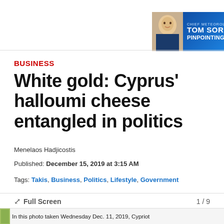[Figure (photo): Advertisement banner for Chief Meteorologist Tom Sorrells - Pinpointing Your Weather, with photo of meteorologist against blue weather background]
BUSINESS
White gold: Cyprus' halloumi cheese entangled in politics
Menelaos Hadjicostis
Published: December 15, 2019 at 3:15 AM
Tags: Takis, Business, Politics, Lifestyle, Government
Full Screen  1 / 9
In this photo taken Wednesday Dec. 11, 2019, Cypriot